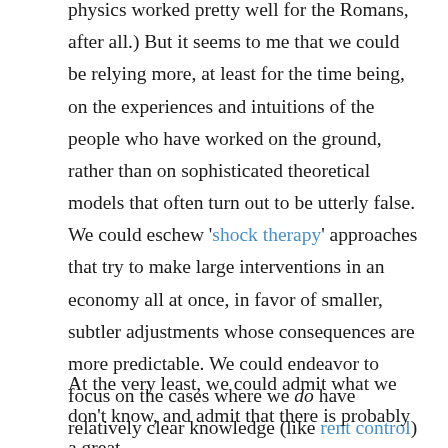physics worked pretty well for the Romans, after all.) But it seems to me that we could be relying more, at least for the time being, on the experiences and intuitions of the people who have worked on the ground, rather than on sophisticated theoretical models that often turn out to be utterly false. We could eschew 'shock therapy' approaches that try to make large interventions in an economy all at once, in favor of smaller, subtler adjustments whose consequences are more predictable. We could endeavor to focus on the cases where we do have relatively clear knowledge (like rent control) and avoid those where the uncertainty is greatest (like economic development).
At the very least, we could admit what we don't know, and admit that there is probably a great